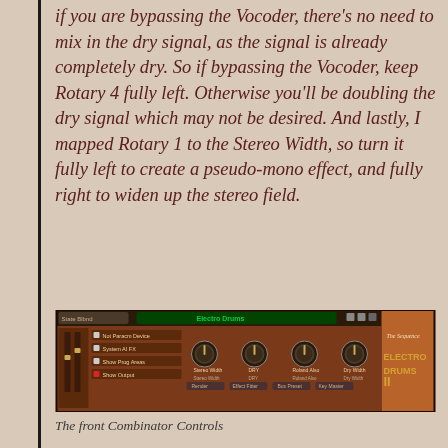if you are bypassing the Vocoder, there's no need to mix in the dry signal, as the signal is already completely dry. So if bypassing the Vocoder, keep Rotary 4 fully left. Otherwise you'll be doubling the dry signal which may not be desired. And lastly, I mapped Rotary 1 to the Stereo Width, so turn it fully left to create a pseudo-mono effect, and fully right to widen up the stereo field.
[Figure (screenshot): Screenshot of a Combinator plugin interface showing 'Electro Drums II' with knobs labeled Stereo Width, DRY, Roland Also, and Dry Width, and buttons for features in a reddish-brown GUI.]
The front Combinator Controls